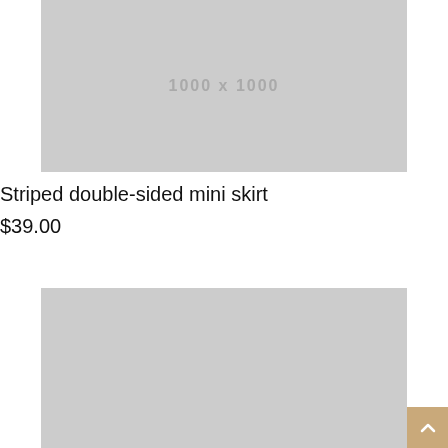[Figure (photo): Product image placeholder - gray rectangle with '1000 x 1000' text watermark]
Striped double-sided mini skirt
$39.00
[Figure (photo): Second product image placeholder - gray rectangle, partially visible]